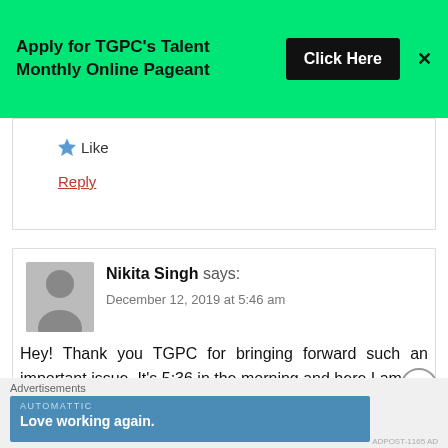[Figure (infographic): Green banner advertisement: 'Apply for TGPC's Talent Monthly Online Pageant' with a black 'Click Here' button and an X close icon]
Like
Reply
Nikita Singh says:
December 12, 2019 at 5:46 am
Hey! Thank you TGPC for bringing forward such an important issue. It's 5:36 in the morning and here I am,
[Figure (infographic): Advertisements banner: Automattic 'Love working again.']